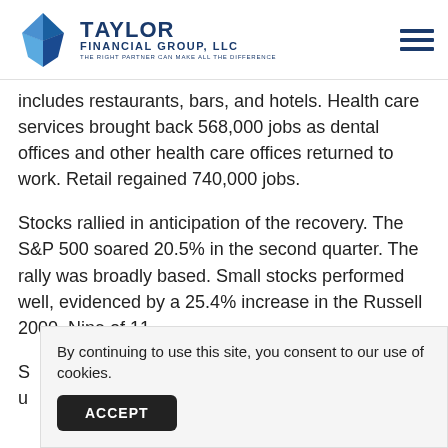Taylor Financial Group, LLC — The right partner can make all the difference
includes restaurants, bars, and hotels. Health care services brought back 568,000 jobs as dental offices and other health care offices returned to work. Retail regained 740,000 jobs.
Stocks rallied in anticipation of the recovery. The S&P 500 soared 20.5% in the second quarter. The rally was broadly based. Small stocks performed well, evidenced by a 25.4% increase in the Russell 2000. Nine of 11 S&P sectors were u...
By continuing to use this site, you consent to our use of cookies.